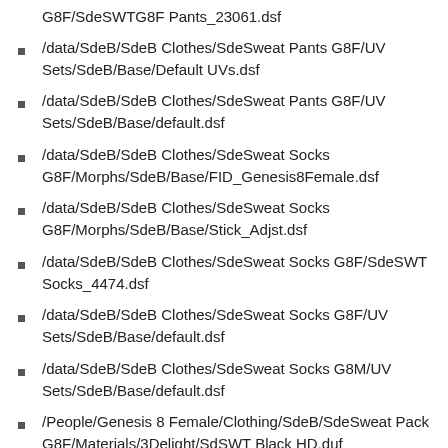G8F/SdeSWTG8F Pants_23061.dsf
/data/SdeB/SdeB Clothes/SdeSweat Pants G8F/UV Sets/SdeB/Base/Default UVs.dsf
/data/SdeB/SdeB Clothes/SdeSweat Pants G8F/UV Sets/SdeB/Base/default.dsf
/data/SdeB/SdeB Clothes/SdeSweat Socks G8F/Morphs/SdeB/Base/FID_Genesis8Female.dsf
/data/SdeB/SdeB Clothes/SdeSweat Socks G8F/Morphs/SdeB/Base/Stick_Adjst.dsf
/data/SdeB/SdeB Clothes/SdeSweat Socks G8F/SdeSWT Socks_4474.dsf
/data/SdeB/SdeB Clothes/SdeSweat Socks G8F/UV Sets/SdeB/Base/default.dsf
/data/SdeB/SdeB Clothes/SdeSweat Socks G8M/UV Sets/SdeB/Base/default.dsf
/People/Genesis 8 Female/Clothing/SdeB/SdeSweat Pack G8F/Materials/3Delight/SdSWT Black HD.duf
/People/Genesis 8